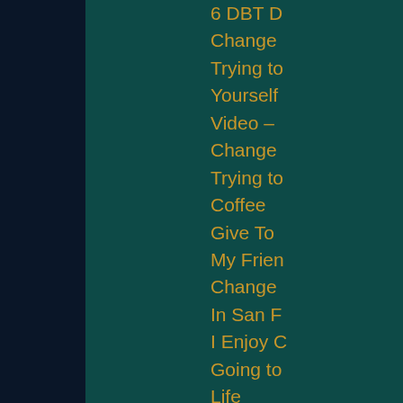6 DBT D...
Change
Trying to
Yourself
Video –
Change
Trying to
Coffee
Give To
My Frien
Change
In San F
I Enjoy C
Going to
Life
Do You
Change
San Fran
M...